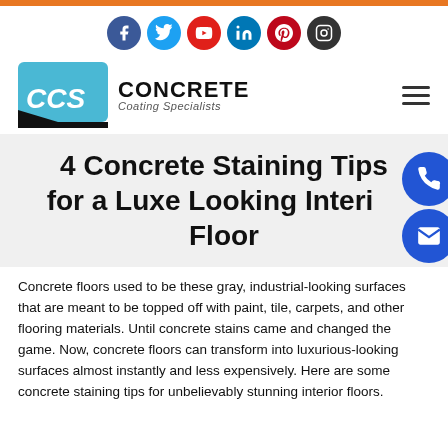[Figure (logo): CCS Concrete Coating Specialists logo with social media icons row (Facebook, Twitter, YouTube, LinkedIn, Pinterest, Instagram) and hamburger menu]
4 Concrete Staining Tips for a Luxe Looking Interior Floor
Concrete floors used to be these gray, industrial-looking surfaces that are meant to be topped off with paint, tile, carpets, and other flooring materials. Until concrete stains came and changed the game. Now, concrete floors can transform into luxurious-looking surfaces almost instantly and less expensively. Here are some concrete staining tips for unbelievably stunning interior floors.